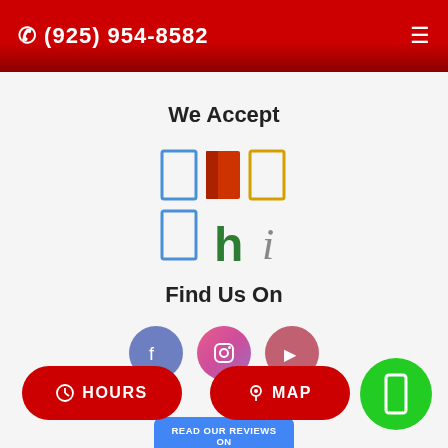📞 (925) 954-8582
We Accept
[Figure (logo): Payment method icons: three colored rectangles (blue, red/orange, yellow) arranged in a row, below them a blue rectangle and lowercase colored text 'hi']
Find Us On
[Figure (infographic): Three social media circles: Facebook (blue-purple), Instagram (pink-purple gradient), YouTube/social (muted red)]
[Figure (logo): Google reviews badge: blue rounded rectangle reading 'READ OUR REVIEWS ON' and 'Google' in multicolor Google logo style]
HOURS
MAP